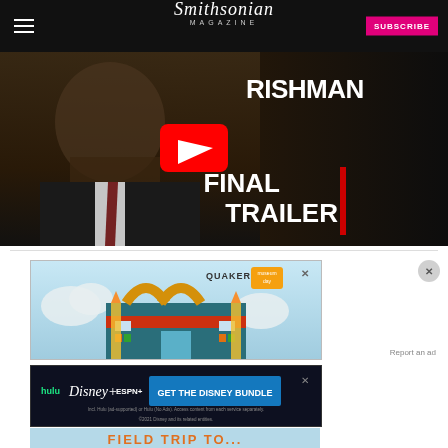Smithsonian Magazine — SUBSCRIBE
[Figure (screenshot): YouTube video thumbnail for 'The Irishman' final trailer, showing a man in a suit with the YouTube play button overlay, text 'RISHMAN FINAL TRAILER' on dark background]
[Figure (illustration): Quaker / Museum Day advertisement showing illustrated colorful school building with clouds, with QUAKER and museum day logos and a close button]
Report an ad
[Figure (screenshot): Disney Bundle advertisement with Hulu, Disney+, ESPN+ logos and 'GET THE DISNEY BUNDLE' button, fine print about Hulu ad-supported or no ads options]
[Figure (screenshot): Partial view of Quaker/Museum Day advertisement showing 'FIELD TRIP TO...' text in orange]